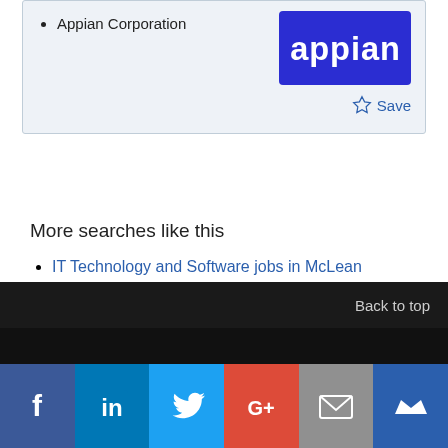Appian Corporation
[Figure (logo): Appian Corporation logo — white text 'appian' on blue background]
Save
More searches like this
IT Technology and Software jobs in McLean
Back to top
[Figure (infographic): Social media share buttons: Facebook, LinkedIn, Twitter, Google+, Email, Crown/Mightybell]